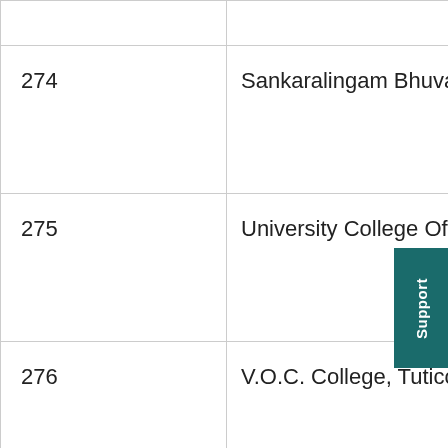| No. | Name |
| --- | --- |
|  |  |
| 274 | Sankaralingam Bhuvaneswari College Of Ph |
| 275 | University College Of Engineering Villup |
| 276 | V.O.C. College, Tuticorin |